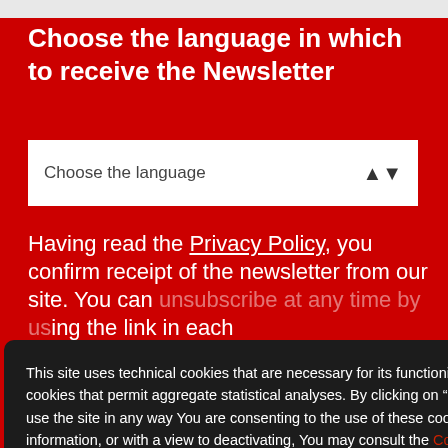Choose the language in which to receive the Newsletter
[Figure (screenshot): Dropdown input field with label 'Choose the language' and up/down arrow icon on the right]
Having read the Privacy Policy, you confirm receipt of the newsletter from our site. You can unsubscribe at any time by using the link in each
[Figure (screenshot): Subscribe button area (partially visible)]
This site uses technical cookies that are necessary for its functioning as well as third party cookies that permit aggregate statistical analyses. By clicking on "I Accept" or continuing to use the site in any way You are consenting to the use of these cookies. For further information, or with a view to deactivating, You may consult the Cookie Policy.
[Figure (screenshot): I Accept button — dark gray rounded button]